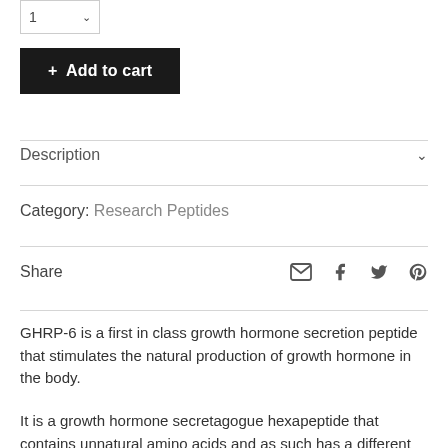[Figure (other): Quantity selector widget showing '1' with a dropdown chevron]
[Figure (other): Add to cart button with '+  Add to cart' text on dark background]
Description
Category: Research Peptides
Share
GHRP-6 is a first in class growth hormone secretion peptide that stimulates the natural production of growth hormone in the body.
It is a growth hormone secretagogue hexapeptide that contains unnatural amino acids and as such has a different